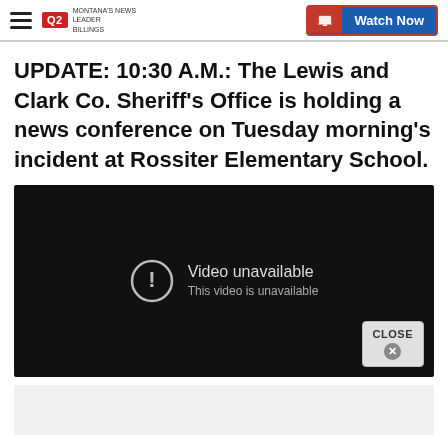Q2 MONTANA'S NEWS LEADER | Watch Now
UPDATE: 10:30 A.M.: The Lewis and Clark Co. Sheriff's Office is holding a news conference on Tuesday morning's incident at Rossiter Elementary School.
[Figure (screenshot): Embedded video player showing 'Video unavailable' message with an exclamation icon and the text 'This video is unavailable'. A 'CLOSE' button with an X appears in the lower right corner of the player.]